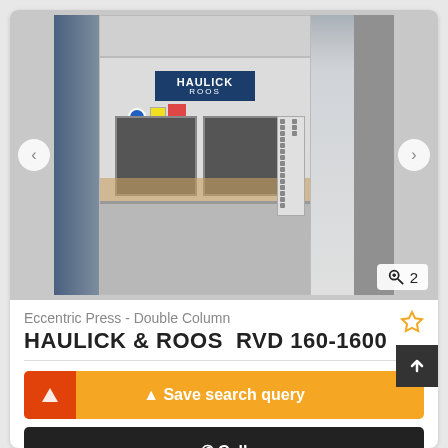[Figure (photo): Photo of a Haulick & Roos RVD 160-1600 Eccentric Press Double Column machine in an industrial setting. The large white/grey press machine has a blue Haulick Roos logo plate on the front upper section, two dark windows in the middle control area, and a handheld control panel on the right side.]
Eccentric Press - Double Column
HAULICK & ROOS  RVD 160-1600
Save search query
Call